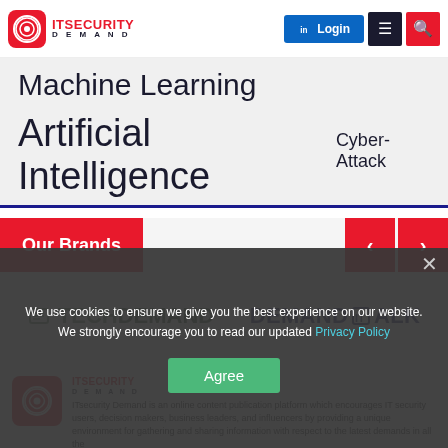IT Security Demand - Login - Menu - Search
Machine Learning
Artificial Intelligence  Cyber-Attack
Our Brands
[Figure (logo): TechDemand logo with green stylized icon and text]
[Figure (logo): DemandTalk logo in dark navy bold text]
[Figure (logo): ITsecurity Demand footer logo]
ITsecurity Demand is an online content publication platform which encourages IT security users, decision makers, business leaders, and influencers by providing a unique environment for gathering and sharing information with respect to the latest demands in all the
We use cookies to ensure we give you the best experience on our website. We strongly encourage you to read our updated Privacy Policy
Agree